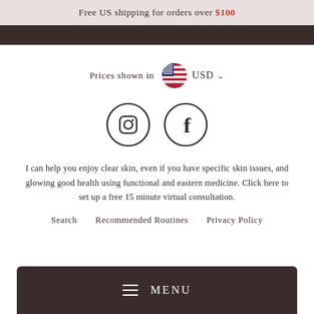Free US shipping for orders over $100
Prices shown in USD
[Figure (illustration): Social media icons: Instagram circle icon and Facebook circle icon]
I can help you enjoy clear skin, even if you have specific skin issues, and glowing good health using functional and eastern medicine. Click here to set up a free 15 minute virtual consultation.
Search
Recommended Routines
Privacy Policy
MENU